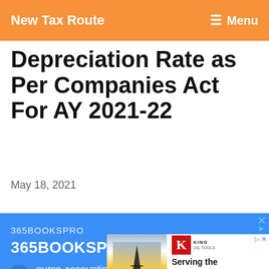New Tax Route   ≡ Menu
Depreciation Rate as Per Companies Act For AY 2021-22
May 18, 2021
[Figure (other): Advertisement banner for 365BOOKSPRO accounting outsourcing service with blue background]
[Figure (other): Advertisement banner for King Oil Tools: Serving the Drill Rig Industry since 1937]